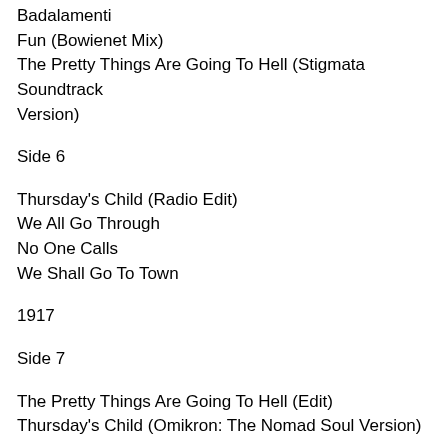Badalamenti
Fun (Bowienet Mix)
The Pretty Things Are Going To Hell (Stigmata Soundtrack Version)
Side 6
Thursday's Child (Radio Edit)
We All Go Through
No One Calls
We Shall Go To Town
1917
Side 7
The Pretty Things Are Going To Hell (Edit)
Thursday's Child (Omikron: The Nomad Soul Version)